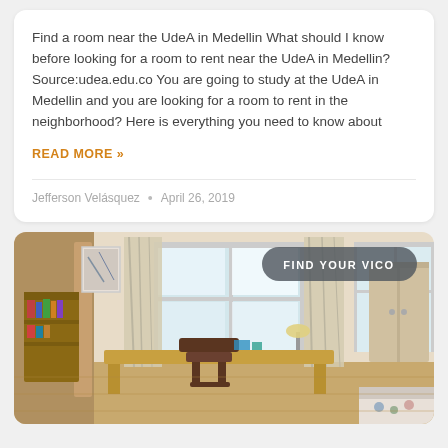Find a room near the UdeA in Medellin What should I know before looking for a room to rent near the UdeA in Medellin? Source:udea.edu.co You are going to study at the UdeA in Medellin and you are looking for a room to rent in the neighborhood? Here is everything you need to know about
READ MORE »
Jefferson Velásquez • April 26, 2019
[Figure (photo): Photo of a student bedroom with a desk, chair, bookshelf, window with curtains, and a bed. A 'FIND YOUR VICO' badge overlay is shown in the top right.]